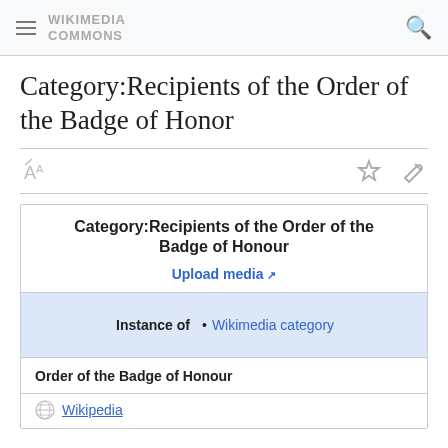WIKIMEDIA COMMONS
Category:Recipients of the Order of the Badge of Honor
[Figure (infographic): Wikimedia Commons category info box for 'Category:Recipients of the Order of the Badge of Honour' with Upload media link, Instance of: Wikimedia category row, Order of the Badge of Honour label, and Wikipedia link at bottom]
Category:Recipients of the Order of the Badge of Honour
Upload media
Instance of • Wikimedia category
Order of the Badge of Honour
Wikipedia